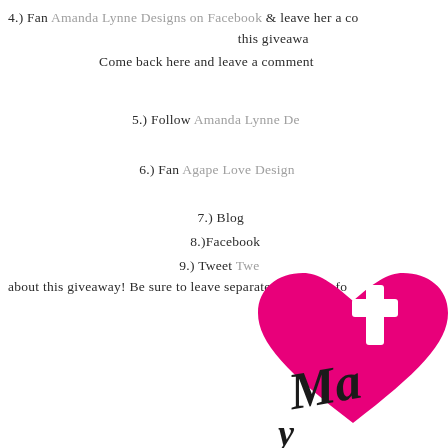4.) Fan Amanda Lynne Designs on Facebook & leave her a comment telling her about this giveaway! Come back here and leave a comment
5.) Follow Amanda Lynne De…
6.) Fan Agape Love Design…
7.) Blog
8.)Facebook…
9.) Tweet Twe… about this giveaway! Be sure to leave separate comments fo…
Good luck!
[Figure (logo): Pink heart logo with white cross and cursive script text 'Mary' (partially visible)]